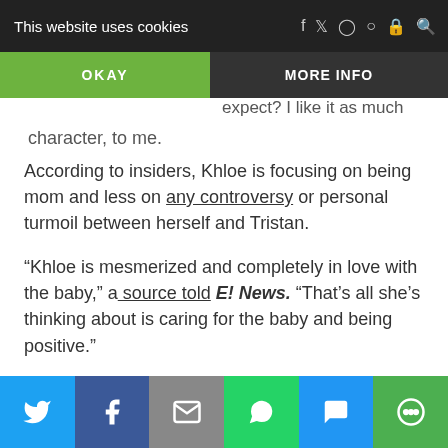This website uses cookies | OKAY | MORE INFO
character, to me.
According to insiders, Khloe is focusing on being mom and less on any controversy or personal turmoil between herself and Tristan.
“Khloe is mesmerized and completely in love with the baby,” a source told E! News. “That’s all she’s thinking about is caring for the baby and being positive.”
Things are still up in the air regarding her personal relationship with True’s dad.
“She hasn’t made any decisions on what she’s going to do regarding Tristan,” the insider explained. “She is overcome
Twitter | Facebook | Email | WhatsApp | SMS | More